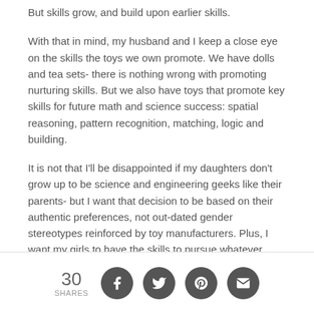But skills grow, and build upon earlier skills.
With that in mind, my husband and I keep a close eye on the skills the toys we own promote. We have dolls and tea sets- there is nothing wrong with promoting nurturing skills. But we also have toys that promote key skills for future math and science success: spatial reasoning, pattern recognition, matching, logic and building.
It is not that I'll be disappointed if my daughters don't grow up to be science and engineering geeks like their parents- but I want that decision to be based on their authentic preferences, not out-dated gender stereotypes reinforced by toy manufacturers. Plus, I want my girls to have the skills to pursue whatever ends up interesting them as they get older.
30 SHARES [Facebook] [Twitter] [Pinterest] [Email]